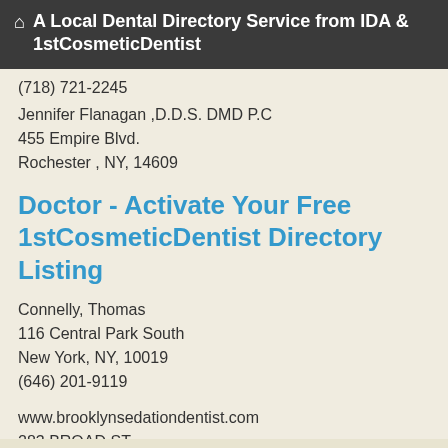A Local Dental Directory Service from IDA & 1stCosmeticDentist
(718) 721-2245
Jennifer Flanagan ,D.D.S. DMD P.C
455 Empire Blvd.
Rochester , NY, 14609
Doctor - Activate Your Free 1stCosmeticDentist Directory Listing
Connelly, Thomas
116 Central Park South
New York, NY, 10019
(646) 201-9119
www.brooklynsedationdentist.com
283 BROAD ST
New York , NY, 10128
(248) 217-4590
Tooth Restoration Options